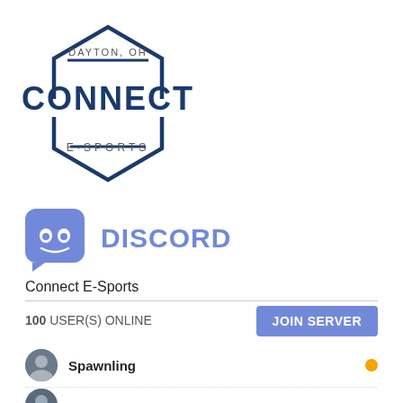[Figure (logo): Connect E-Sports logo: hexagon shape with 'DAYTON, OH' text inside top, large bold 'CONNECT' text in center, 'E·SPORTS' text inside bottom portion, all in dark navy/blue color]
[Figure (logo): Discord logo icon: purple/blue rounded square with white controller/headset face icon]
DISCORD
Connect E-Sports
100 USER(S) ONLINE
JOIN SERVER
Spawnling